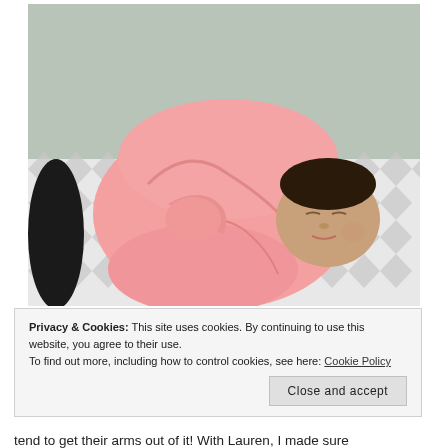[Figure (photo): A newborn baby swaddled tightly in a pink blanket, sleeping on a changing pad with a grey and white chevron pattern. An adult's arm is partly visible on the left side.]
Privacy & Cookies: This site uses cookies. By continuing to use this website, you agree to their use.
To find out more, including how to control cookies, see here: Cookie Policy
Close and accept
tend to get their arms out of it! With Lauren, I made sure